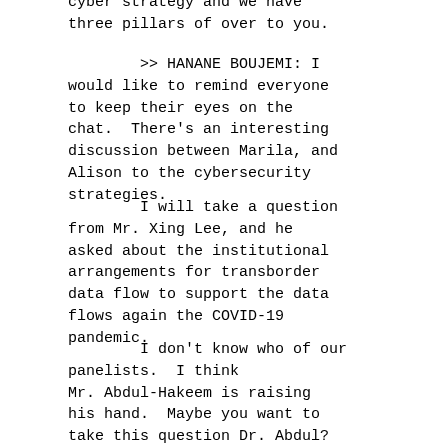cyber strategy and we have three pillars of over to you.
>> HANANE BOUJEMI: I would like to remind everyone to keep their eyes on the chat.  There's an interesting discussion between Marila, and Alison to the cybersecurity strategies.
I will take a question from Mr. Xing Lee, and he asked about the institutional arrangements for transborder data flow to support the data flows again the COVID-19 pandemic.
I don't know who of our panelists.  I think Mr. Abdul-Hakeem is raising his hand.  Maybe you want to take this question Dr. Abdul?